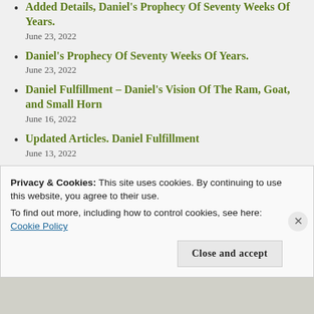Added Details, Daniel's Prophecy Of Seventy Weeks Of Years.
June 23, 2022
Daniel's Prophecy Of Seventy Weeks Of Years.
June 23, 2022
Daniel Fulfillment – Daniel's Vision Of The Ram, Goat, and Small Horn
June 16, 2022
Updated Articles. Daniel Fulfillment
June 13, 2022
Daniel Prophecy Fulfillment (Statement of
Privacy & Cookies: This site uses cookies. By continuing to use this website, you agree to their use.
To find out more, including how to control cookies, see here: Cookie Policy